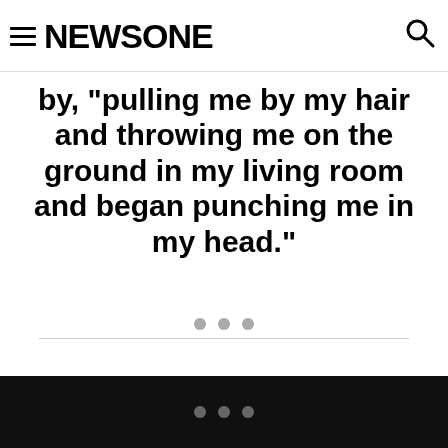NEWSONE
by, “pulling me by my hair and throwing me on the ground in my living room and began punching me in my head.”
[Figure (other): Three gray dots above a horizontal divider line (ad placeholder)]
[Figure (other): Three gray dots on black background bar (ad placeholder)]